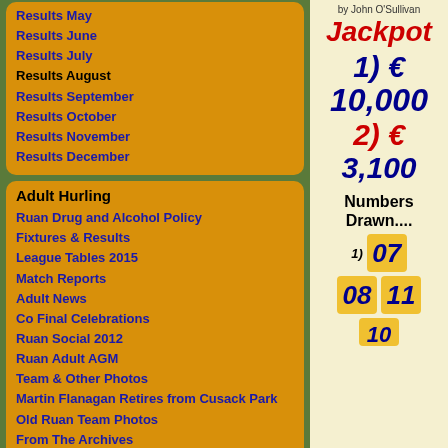Results May
Results June
Results July
Results August
Results September
Results October
Results November
Results December
Adult Hurling
Ruan Drug and Alcohol Policy
Fixtures & Results
League Tables 2015
Match Reports
Adult News
Co Final Celebrations
Ruan Social 2012
Ruan Adult AGM
Team & Other Photos
Martin Flanagan Retires from Cusack Park
Old Ruan Team Photos
From The Archives
by John O'Sullivan
Jackpot
1) € 10,000
2) € 3,100
Numbers Drawn....
1) 07
08   11
10